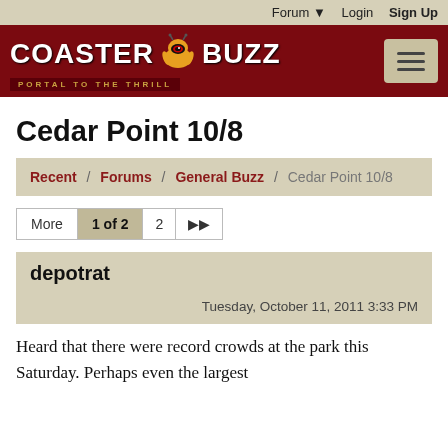Forum ▼  Login  Sign Up
[Figure (logo): CoasterBuzz logo with mascot and tagline 'Portal to the Thrill' on dark red background, with hamburger menu button]
Cedar Point 10/8
Recent / Forums / General Buzz / Cedar Point 10/8
More  1 of 2  2  ►
depotrat
Tuesday, October 11, 2011 3:33 PM
Heard that there were record crowds at the park this Saturday. Perhaps even the largest